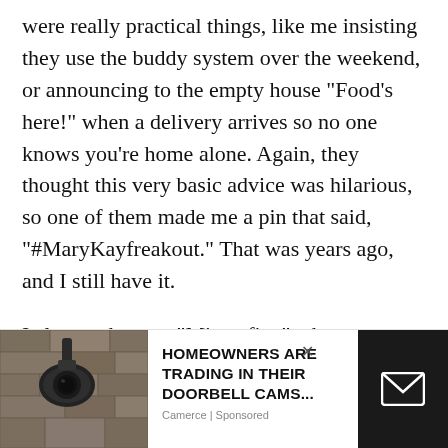were really practical things, like me insisting they use the buddy system over the weekend, or announcing to the empty house “Food’s here!” when a delivery arrives so no one knows you’re home alone. Again, they thought this very basic advice was hilarious, so one of them made me a pin that said, “#MaryKayfreakout.” That was years ago, and I still have it.
I also tend to say “Minus five” when my college students say something I hate, but no one has given me a stamp with that written on it.
[Figure (other): Advertisement banner showing a security camera on a stone wall, with text: HOMEOWNERS ARE TRADING IN THEIR DOORBELL CAMS... Camerce | Sponsored. A dark block on the right with an envelope icon.]